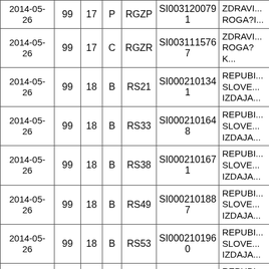| 2014-05-26 | 99 | 17 | P | RGZP | SI0031200791 | ZDRAVI... ROGA?I... |
| 2014-05-26 | 99 | 17 | C | RGZR | SI0031115767 | ZDRAVI... ROGA?K... |
| 2014-05-26 | 99 | 18 | B | RS21 | SI0002101341 | REPUBI... SLOVE... IZDAJA... |
| 2014-05-26 | 99 | 18 | B | RS33 | SI0002101648 | REPUBI... SLOVE... IZDAJA... |
| 2014-05-26 | 99 | 18 | B | RS38 | SI0002101671 | REPUBI... SLOVE... IZDAJA... |
| 2014-05-26 | 99 | 18 | B | RS49 | SI0002101887 | REPUBI... SLOVE... IZDAJA... |
| 2014-05-26 | 99 | 18 | B | RS53 | SI0002101960 | REPUBI... SLOVE... IZDAJA... |
| 2014-05-26 | 99 | 18 | B | RS57 | SI0002102141 | REPUBI... SLOVE... IZDAJA... |